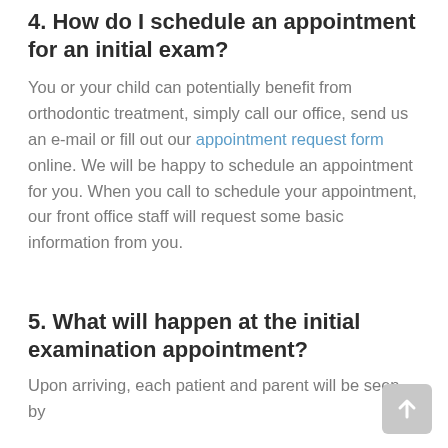4. How do I schedule an appointment for an initial exam?
You or your child can potentially benefit from orthodontic treatment, simply call our office, send us an e-mail or fill out our appointment request form online. We will be happy to schedule an appointment for you. When you call to schedule your appointment, our front office staff will request some basic information from you.
5. What will happen at the initial examination appointment?
Upon arriving, each patient and parent will be seen by